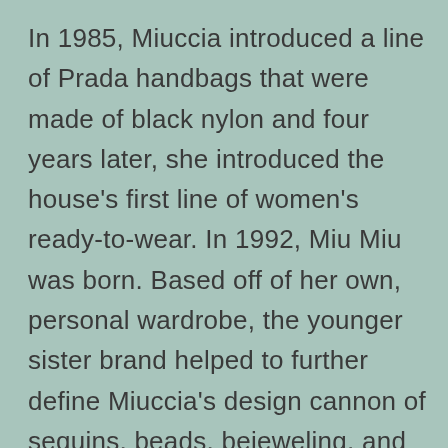In 1985, Miuccia introduced a line of Prada handbags that were made of black nylon and four years later, she introduced the house's first line of women's ready-to-wear. In 1992, Miu Miu was born. Based off of her own, personal wardrobe, the younger sister brand helped to further define Miuccia's design cannon of sequins, beads, bejeweling, and kick-skirted dresses. Fun and fanciful, Miu Miu quickly carved out a unique niche in the fashion world and secured a loyal cult following to boot. Some of the most memorable Prada collections include those for Spring 2004,